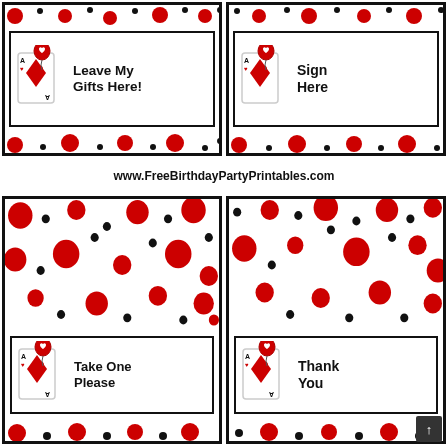[Figure (illustration): Sign card: 'Leave My Gifts Here!' with playing card/balloon graphic on red and black polka dot background]
[Figure (illustration): Sign card: 'Sign Here' with playing card/balloon graphic on red and black polka dot background]
www.FreeBirthdayPartyPrintables.com
[Figure (illustration): Sign card: top half with red and black polka dot background only]
[Figure (illustration): Sign card: top half with red and black polka dot background only]
[Figure (illustration): Sign card: 'Take One Please' with playing card/balloon graphic on red and black polka dot background]
[Figure (illustration): Sign card: 'Thank You' with playing card/balloon graphic on red and black polka dot background]